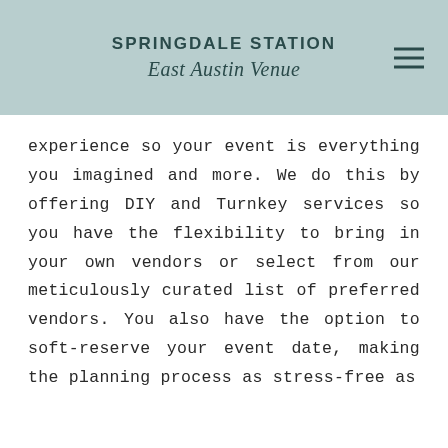SPRINGDALE STATION
East Austin Venue
experience so your event is everything you imagined and more. We do this by offering DIY and Turnkey services so you have the flexibility to bring in your own vendors or select from our meticulously curated list of preferred vendors. You also have the option to soft-reserve your event date, making the planning process as stress-free as possible.